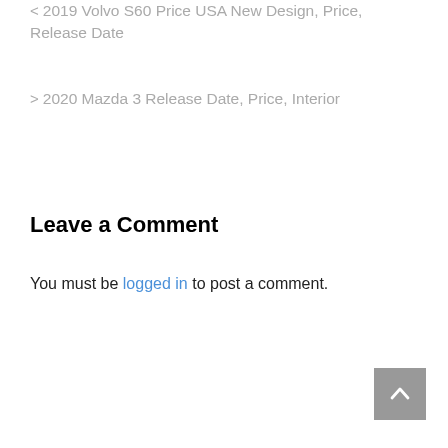< 2019 Volvo S60 Price USA New Design, Price, Release Date
> 2020 Mazda 3 Release Date, Price, Interior
Leave a Comment
You must be logged in to post a comment.